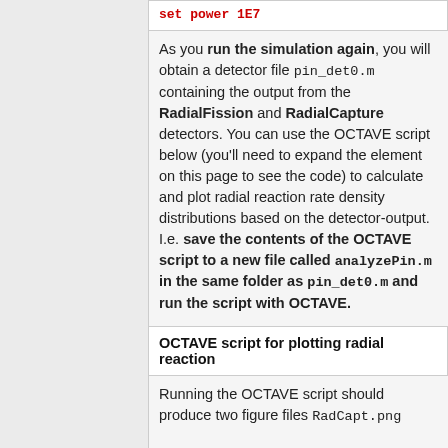set power 1E7
As you run the simulation again, you will obtain a detector file pin_det0.m containing the output from the RadialFission and RadialCapture detectors. You can use the OCTAVE script below (you'll need to expand the element on this page to see the code) to calculate and plot radial reaction rate density distributions based on the detector-output. I.e. save the contents of the OCTAVE script to a new file called analyzePin.m in the same folder as pin_det0.m and run the script with OCTAVE.
OCTAVE script for plotting radial reaction
Running the OCTAVE script should produce two figure files RadCapt.png